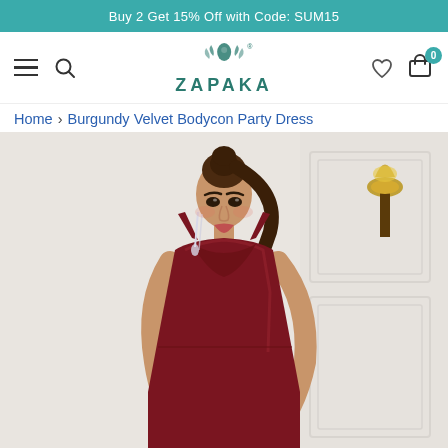Buy 2 Get 15% Off with Code: SUM15
[Figure (logo): ZAPAKA brand logo with decorative lady figure and leaves]
Home › Burgundy Velvet Bodycon Party Dress
[Figure (photo): Female model wearing a burgundy velvet bodycon spaghetti strap dress, posed against a white ornate wall background with gold lamp fixture]